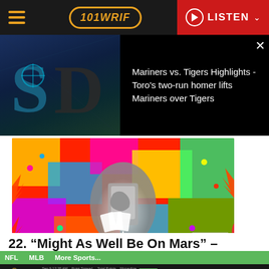101 WRIF | LISTEN
[Figure (screenshot): Baseball video thumbnail showing Seattle Mariners S logo and Detroit Tigers D logo on dark background with text overlay: Mariners vs. Tigers Highlights - Toro's two-run homer lifts Mariners over Tigers]
[Figure (photo): Colorful psychedelic artwork with spiky/jeweled imagery, robot or armored figure holding cards and chains, labeled 'Epic' in bottom right]
22. “Might As Well Be On Mars” –
NFL   MLB   More Sports...
DraftKings Sportsbook | Sep 9 12:20 AM | Point Spread | Total Points | Moneyline | LAR +2.5 -110 U 53 -110 +115 BET NOW | BUF -2.5 -110 O 53 -110 -135 | Odds/lines subject to change. See DraftKings.io